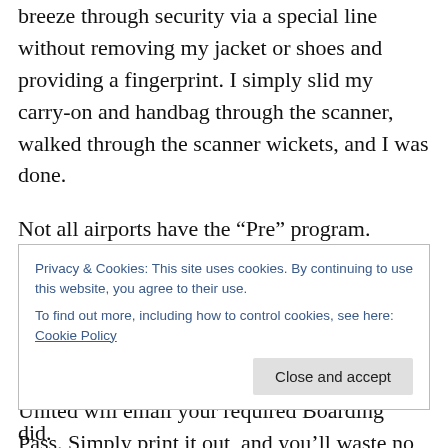breeze through security via a special line without removing my jacket or shoes and providing a fingerprint. I simply slid my carry-on and handbag through the scanner, walked through the scanner wickets, and I was done.
Not all airports have the “Pre” program. You’ve got to check. Some require a fee, as well.
Within twenty-four hours before your flight departs, you should check in online, and United will email your required Boarding Pass. Simply print it out, and you’ll waste no precious time at the airport going to the airline’s kiosk to
Privacy & Cookies: This site uses cookies. By continuing to use this website, you agree to their use.
To find out more, including how to control cookies, see here: Cookie Policy
did.